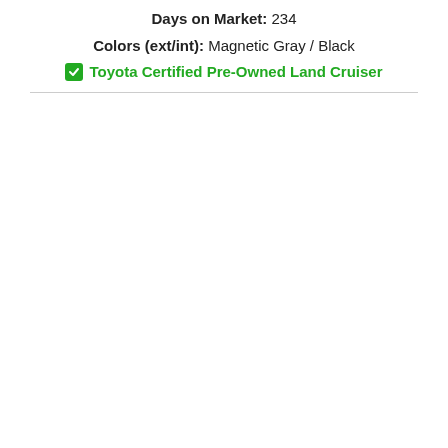Days on Market: 234
Colors (ext/int): Magnetic Gray / Black
✔ Toyota Certified Pre-Owned Land Cruiser